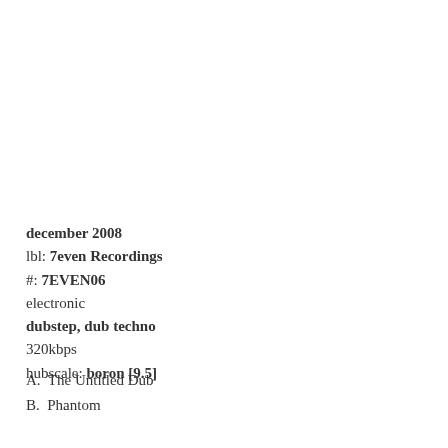december 2008
lbl: 7even Recordings
#: 7EVEN06
electronic
dubstep, dub techno
320kbps
hubscale: boron [9.5]
A.  The Untitled Dub
B.  Phantom